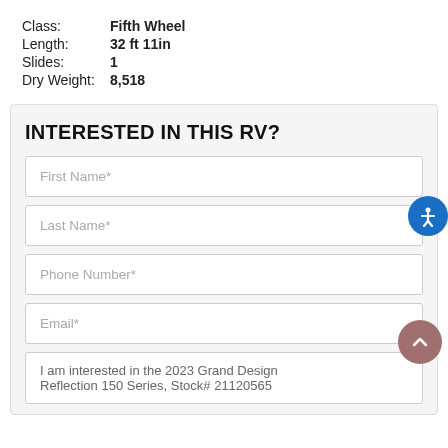Class: Fifth Wheel
Length: 32 ft 11in
Slides: 1
Dry Weight: 8,518
INTERESTED IN THIS RV?
First Name*
Last Name*
Phone Number*
Email*
I am interested in the 2023 Grand Design Reflection 150 Series, Stock# 21120565